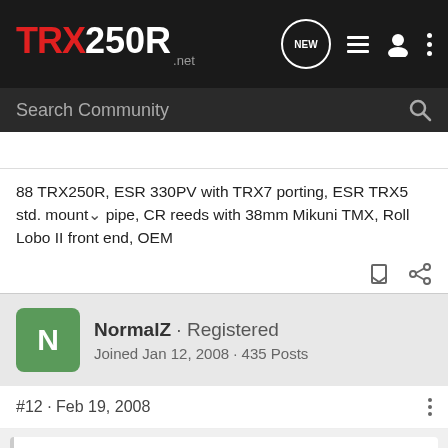TRX250R.net
Search Community
88 TRX250R, ESR 330PV with TRX7 porting, ESR TRX5 std. mount pipe, CR reeds with 38mm Mikuni TMX, Roll Lobo II front end, OEM
NormalZ · Registered
Joined Jan 12, 2008 · 435 Posts
#12 · Feb 19, 2008
Looks sweet. In your post above you mentioned a rear link from Derisi